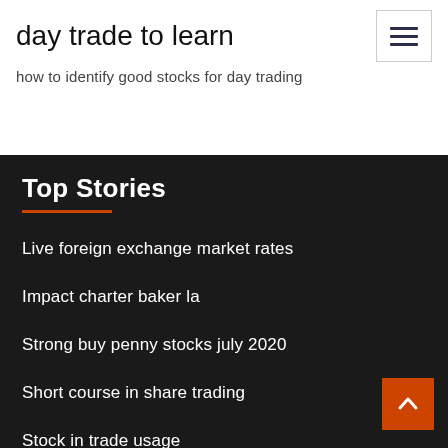day trade to learn
how to identify good stocks for day trading
Top Stories
Live foreign exchange market rates
Impact charter baker la
Strong buy penny stocks july 2020
Short course in share trading
Stock in trade usage
State the uses of crude oil and petrochemical
Gold price chart for last 30 years in india
Eurex block trade reporting
Biotech nasdaq stocks